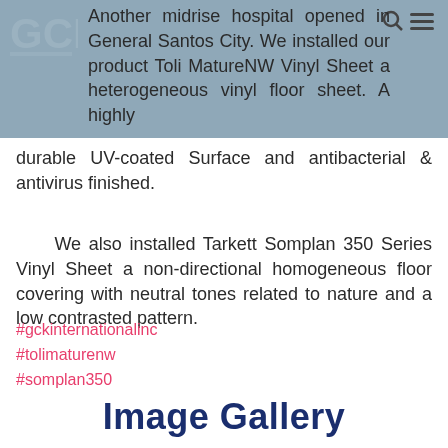Another midrise hospital opened in General Santos City. We installed our product Toli MatureNW Vinyl Sheet a heterogeneous vinyl floor sheet. A highly durable UV-coated Surface and antibacterial & antivirus finished.
We also installed Tarkett Somplan 350 Series Vinyl Sheet a non-directional homogeneous floor covering with neutral tones related to nature and a low contrasted pattern.
#gckinternationalinc
#tolimaturenw
#somplan350
Image Gallery